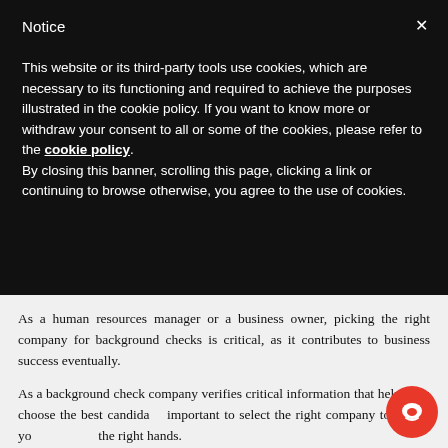Notice
This website or its third-party tools use cookies, which are necessary to its functioning and required to achieve the purposes illustrated in the cookie policy. If you want to know more or withdraw your consent to all or some of the cookies, please refer to the cookie policy.
By closing this banner, scrolling this page, clicking a link or continuing to browse otherwise, you agree to the use of cookies.
As a human resources manager or a business owner, picking the right company for background checks is critical, as it contributes to business success eventually.
As a background check company verifies critical information that helps you choose the best candidate, important to select the right company to ensure your data is in the right hands.